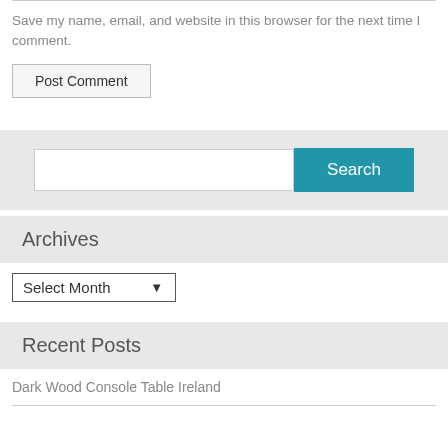Save my name, email, and website in this browser for the next time I comment.
Post Comment
[Figure (screenshot): Search bar with text input field and blue Search button on a light grey background]
Archives
Select Month
Recent Posts
Dark Wood Console Table Ireland